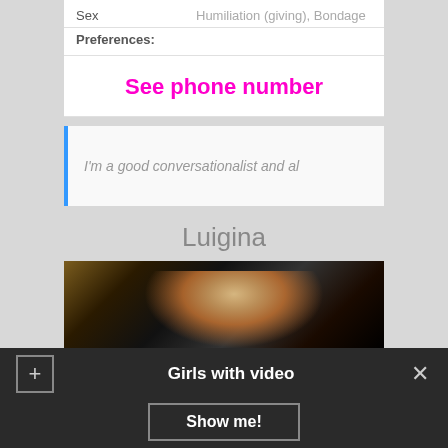Sex	Humiliation (giving), Bondage
Preferences:
See phone number
I'm a good conversationalist and al
Luigina
[Figure (photo): Blonde woman in blue dress against dark ornate background]
Girls with video
Show me!